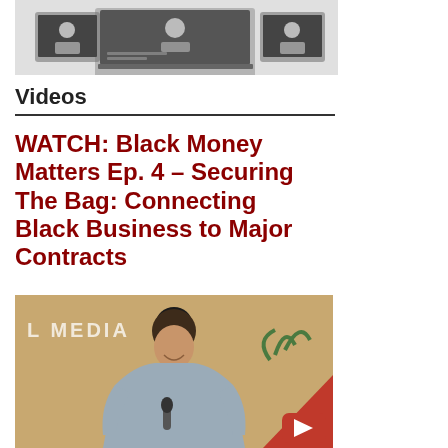[Figure (screenshot): Screenshot of digital media devices (tablets/laptop) showing news/video content with people]
Videos
WATCH: Black Money Matters Ep. 4 – Securing The Bag: Connecting Black Business to Major Contracts
[Figure (photo): A woman sitting in a podcast studio in front of a microphone, with 'L MEDIA' text visible on the wall behind her. A red YouTube play button overlay is visible in the bottom right corner.]